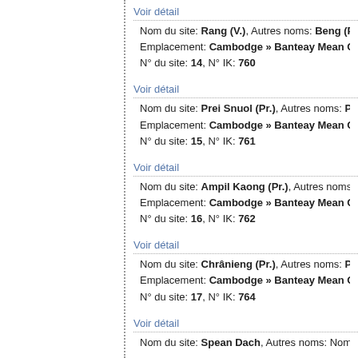Voir détail
Nom du site: Rang (V.), Autres noms: Beng (Pr.) ; Pras... Emplacement: Cambodge » Banteay Mean Chey » Ph... N° du site: 14, N° IK: 760
Voir détail
Nom du site: Prei Snuol (Pr.), Autres noms: Poy Snuo... Emplacement: Cambodge » Banteay Mean Chey » Ph... N° du site: 15, N° IK: 761
Voir détail
Nom du site: Ampil Kaong (Pr.), Autres noms: Ta Kao... Emplacement: Cambodge » Banteay Mean Chey » Ph... N° du site: 16, N° IK: 762
Voir détail
Nom du site: Chrânieng (Pr.), Autres noms: Prasat (Pr... Emplacement: Cambodge » Banteay Mean Chey » Ph... N° du site: 17, N° IK: 764
Voir détail
Nom du site: Spean Dach, Autres noms: Nom du gro...